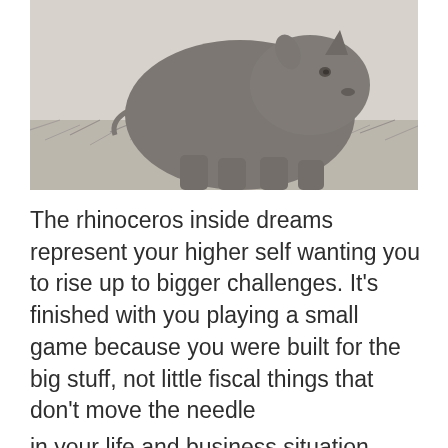[Figure (photo): Black and white photograph of a rhinoceros standing in tall grass, facing slightly toward the camera.]
The rhinoceros inside dreams represent your higher self wanting you to rise up to bigger challenges. It's finished with you playing a small game because you were built for the big stuff, not little fiscal things that don't move the needle in your life and business situation.